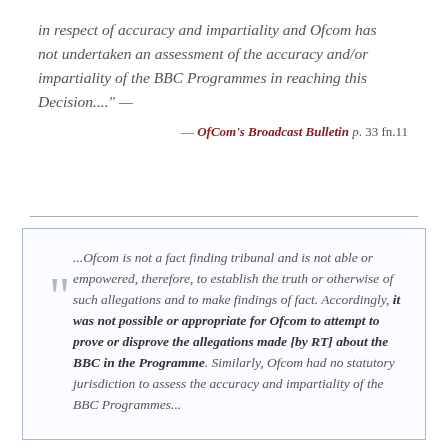in respect of accuracy and impartiality and Ofcom has not undertaken an assessment of the accuracy and/or impartiality of the BBC Programmes in reaching this Decision...." —
— OfCom's Broadcast Bulletin p. 33 fn.11
...Ofcom is not a fact finding tribunal and is not able or empowered, therefore, to establish the truth or otherwise of such allegations and to make findings of fact. Accordingly, it was not possible or appropriate for Ofcom to attempt to prove or disprove the allegations made [by RT] about the BBC in the Programme. Similarly, Ofcom had no statutory jurisdiction to assess the accuracy and impartiality of the BBC Programmes...